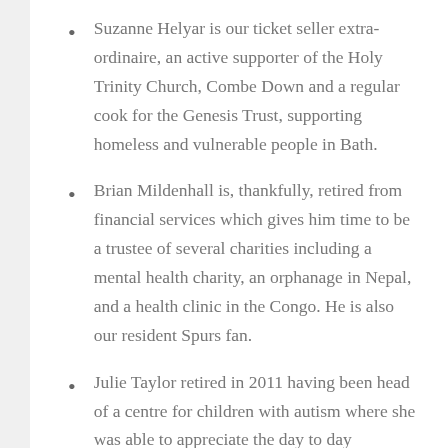Suzanne Helyar is our ticket seller extraordinaire, an active supporter of the Holy Trinity Church, Combe Down and a regular cook for the Genesis Trust, supporting homeless and vulnerable people in Bath.
Brian Mildenhall is, thankfully, retired from financial services which gives him time to be a trustee of several charities including a mental health charity, an orphanage in Nepal, and a health clinic in the Congo. He is also our resident Spurs fan.
Julie Taylor retired in 2011 having been head of a centre for children with autism where she was able to appreciate the day to day